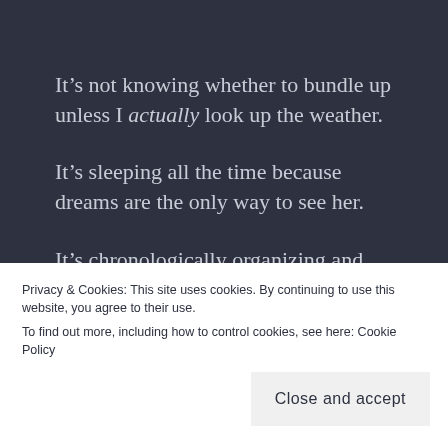It’s not knowing whether to bundle up unless I actually look up the weather.
It’s sleeping all the time because dreams are the only way to see her.
It’s chronologically organizing and filing day every card she’s ever given to me.
It’s caring for an oversized pair of pajamas the way
wings.
Privacy & Cookies: This site uses cookies. By continuing to use this website, you agree to their use.
To find out more, including how to control cookies, see here: Cookie Policy
Close and accept